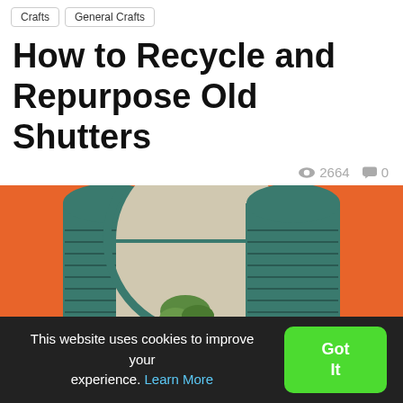Crafts   General Crafts
How to Recycle and Repurpose Old Shutters
👁 2664  💬 0
[Figure (photo): An orange wall with two teal louvered shutters flanking an arched window niche containing a plant.]
This website uses cookies to improve your experience. Learn More